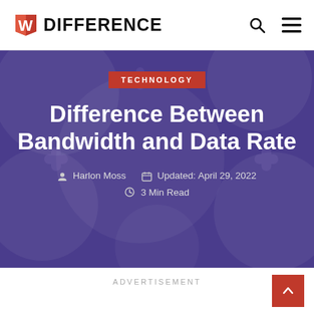W DIFFERENCE
[Figure (screenshot): Hero banner with purple/dark indigo background with subtle translucent circle patterns. Contains TECHNOLOGY red badge, article title 'Difference Between Bandwidth and Data Rate', author Harlon Moss, updated date April 29 2022, and 3 Min Read.]
Difference Between Bandwidth and Data Rate
TECHNOLOGY
Harlon Moss   Updated: April 29, 2022   3 Min Read
ADVERTISEMENT